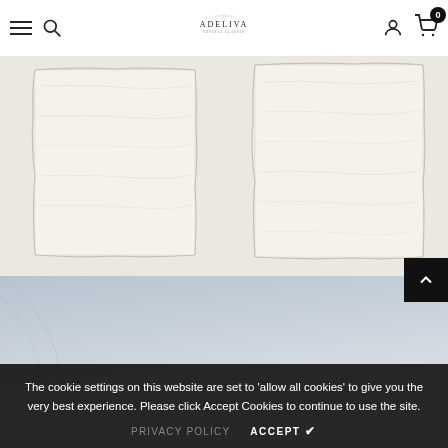ADELIVA — navigation header with hamburger menu, search, logo, account, and cart (0 items)
[Figure (photo): Two rectangular pieces of white/cream handmade paper with rough torn edges, laid flat on a light background, viewed from above.]
[Figure (photo): Light blue-grey gradient background with a partial view of a clear glass dome/cloche with a knob handle at the bottom of the frame.]
The cookie settings on this website are set to 'allow all cookies' to give you the very best experience. Please click Accept Cookies to continue to use the site.
PRIVACY POLICY   ACCEPT ✔